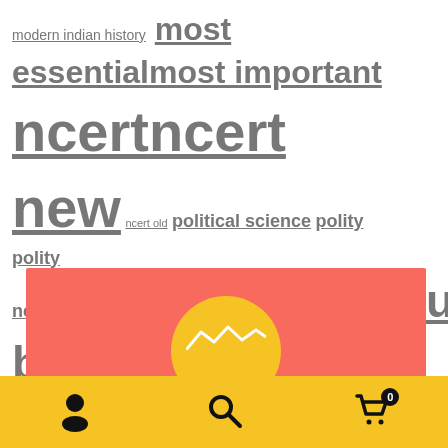modern indian history most essential most important ncert ncert new ncert old political science polity polity ncert productivity productivity books society society gs1 gs2 sociology sociology ncert time management upsc upsc books upsc library
[Figure (illustration): Red banner with a golden/yellow sun circle rising from the bottom center, partially visible]
[Figure (infographic): Bottom navigation bar in golden yellow with user icon, search icon, and cart icon with badge showing 0]